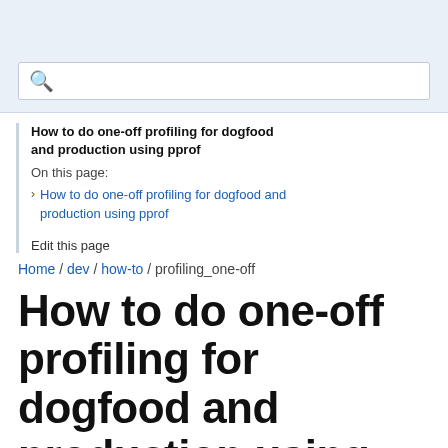[Figure (screenshot): Search bar with magnifying glass icon on light blue background]
How to do one-off profiling for dogfood and production using pprof
On this page:
How to do one-off profiling for dogfood and production using pprof
Edit this page
Home / dev / how-to / profiling_one-off
How to do one-off profiling for dogfood and production using pprof